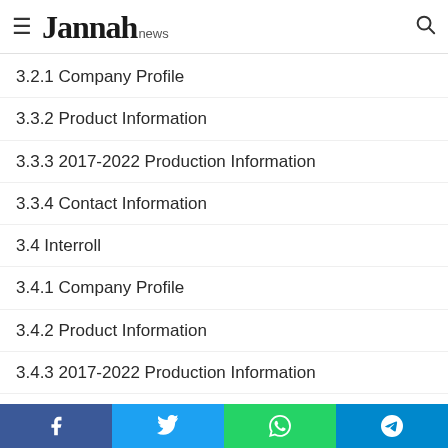Jannah news
3.2.1 Company Profile
3.3.2 Product Information
3.3.3 2017-2022 Production Information
3.3.4 Contact Information
3.4 Interroll
3.4.1 Company Profile
3.4.2 Product Information
3.4.3 2017-2022 Production Information
3.4.4 Contact Information
3.5 S-P-S International
3.5.1 Company Profile
3.5.2 Product Information
3.5.3 2017-2022 Production Information
3.5.4 Contact Information
Facebook Twitter WhatsApp Telegram